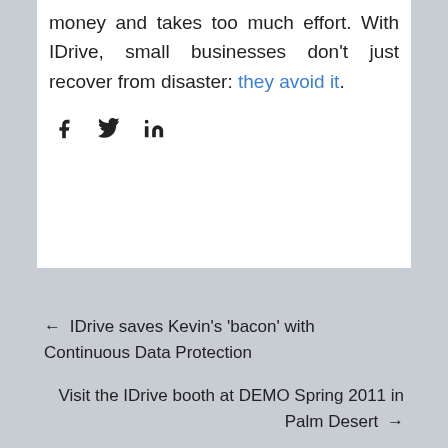money and takes too much effort. With IDrive, small businesses don't just recover from disaster: they avoid it.
[Figure (other): Social share icons: Facebook (f), Twitter (bird), LinkedIn (in)]
← IDrive saves Kevin's 'bacon' with Continuous Data Protection
Visit the IDrive booth at DEMO Spring 2011 in Palm Desert →